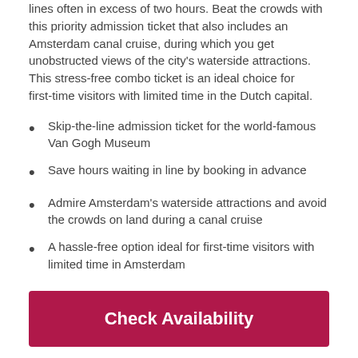lines often in excess of two hours. Beat the crowds with this priority admission ticket that also includes an Amsterdam canal cruise, during which you get unobstructed views of the city's waterside attractions. This stress-free combo ticket is an ideal choice for first-time visitors with limited time in the Dutch capital.
Skip-the-line admission ticket for the world-famous Van Gogh Museum
Save hours waiting in line by booking in advance
Admire Amsterdam's waterside attractions and avoid the crowds on land during a canal cruise
A hassle-free option ideal for first-time visitors with limited time in Amsterdam
Check Availability